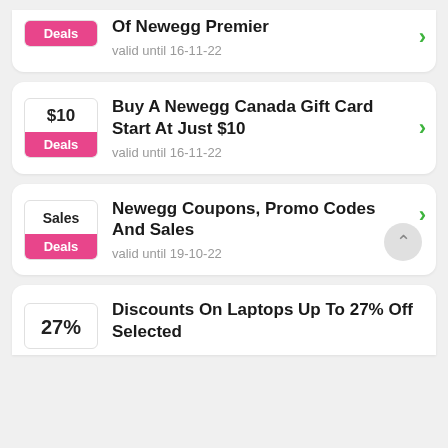Of Newegg Premier | Deals | valid until 16-11-22
Buy A Newegg Canada Gift Card Start At Just $10 | $10 | Deals | valid until 16-11-22
Newegg Coupons, Promo Codes And Sales | Sales | Deals | valid until 19-10-22
Discounts On Laptops Up To 27% Off Selected | 27%